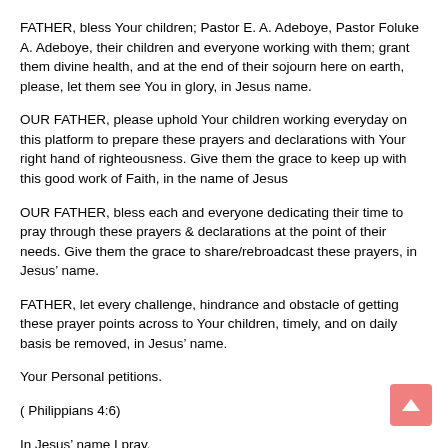FATHER, bless Your children; Pastor E. A. Adeboye, Pastor Foluke A. Adeboye, their children and everyone working with them; grant them divine health, and at the end of their sojourn here on earth, please, let them see You in glory, in Jesus name.
OUR FATHER, please uphold Your children working everyday on this platform to prepare these prayers and declarations with Your right hand of righteousness. Give them the grace to keep up with this good work of Faith, in the name of Jesus
OUR FATHER, bless each and everyone dedicating their time to pray through these prayers & declarations at the point of their needs. Give them the grace to share/rebroadcast these prayers, in Jesus’ name.
FATHER, let every challenge, hindrance and obstacle of getting these prayer points across to Your children, timely, and on daily basis be removed, in Jesus’ name.
Your Personal petitions.
( Philippians 4:6)
In Jesus’ name I pray.
(John 14:13-14; 15:16)
Thank you FATHER for answered prayers.